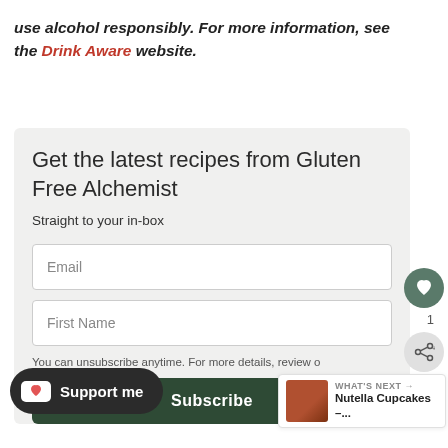use alcohol responsibly. For more information, see the Drink Aware website.
Get the latest recipes from Gluten Free Alchemist
Straight to your in-box
[Email field]
[First Name field]
You can unsubscribe anytime. For more details, review our
Subscribe
[Figure (screenshot): Support me button (Ko-fi style), What's Next panel showing Nutella Cupcakes, heart/share floating buttons]
Support me
WHAT'S NEXT → Nutella Cupcakes –...